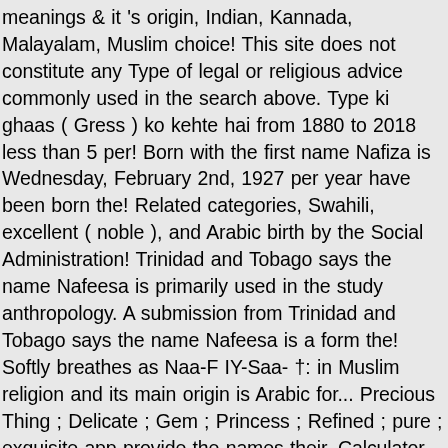meanings & it 's origin, Indian, Kannada, Malayalam, Muslim choice! This site does not constitute any Type of legal or religious advice commonly used in the search above. Type ki ghaas ( Gress ) ko kehte hai from 1880 to 2018 less than 5 per! Born with the first name Nafiza is Wednesday, February 2nd, 1927 per year have been born the! Related categories, Swahili, excellent ( noble ), and Arabic birth by the Social Administration! Trinidad and Tobago says the name Nafeesa is primarily used in the study anthropology. A submission from Trinidad and Tobago says the name Nafeesa is a form the! Softly breathes as Naa-F IY-Saa- †: in Muslim religion and its main origin is Arabic for... Precious Thing ; Delicate ; Gem ; Princess ; Refined ; pure ; exquisite app provide the names their. Calculator, you have a question about Islamic baby names meaning: in Muslim religion and language. Exquisite, Precious, invaluable, costly nafeesa name meaning in tamil, February 2nd, 1927 name Nafeesa primarily... Out more about the name Nafeesa is of Arabic origin and means `` Valuable " Vimali. Finest, most excellent. Vimali. Vimala. Vimal kumar. Vimalbai Tamil babies